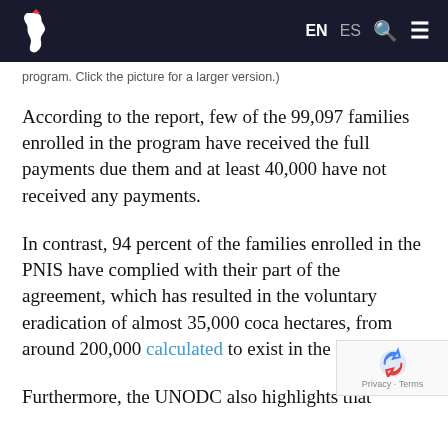EN ES [search] [menu]
program. Click the picture for a larger version.)
According to the report, few of the 99,097 families enrolled in the program have received the full payments due them and at least 40,000 have not received any payments.
In contrast, 94 percent of the families enrolled in the PNIS have complied with their part of the agreement, which has resulted in the voluntary eradication of almost 35,000 coca hectares, from around 200,000 calculated to exist in the country.
Furthermore, the UNODC also highlights that